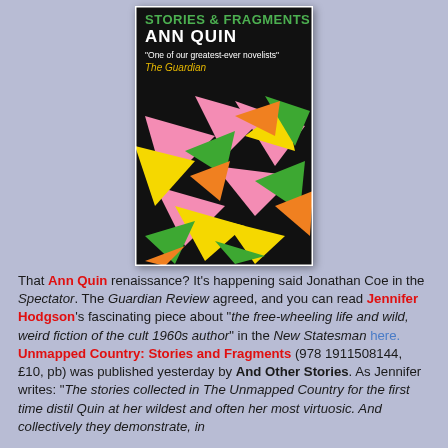[Figure (illustration): Book cover of 'Unmapped Country: Stories & Fragments' by Ann Quin. Top section has black background with green text 'STORIES & FRAGMENTS', white bold text 'ANN QUIN', white quote text '"One of our greatest-ever novelists"', and yellow text 'The Guardian'. Main section features colorful abstract geometric shapes (triangles) in pink, yellow, green, orange on black background.]
That Ann Quin renaissance? It's happening said Jonathan Coe in the Spectator. The Guardian Review agreed, and you can read Jennifer Hodgson's fascinating piece about "the free-wheeling life and wild, weird fiction of the cult 1960s author" in the New Statesman here.  Unmapped Country: Stories and Fragments (978 1911508144, £10, pb) was published yesterday by And Other Stories. As Jennifer writes: "The stories collected in The Unmapped Country for the first time distil Quin at her wildest and often her most virtuosic. And collectively they demonstrate, in